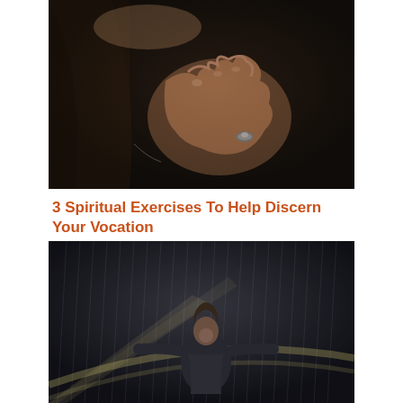[Figure (photo): Close-up of a woman's hands clasped together in prayer, with a ring visible, against a dark background. Long brown hair visible on the left.]
3 Spiritual Exercises To Help Discern Your Vocation
[Figure (photo): A person standing in the rain at night with arms outstretched and face tilted upward, wearing a dark coat, with streaks of light in the background.]